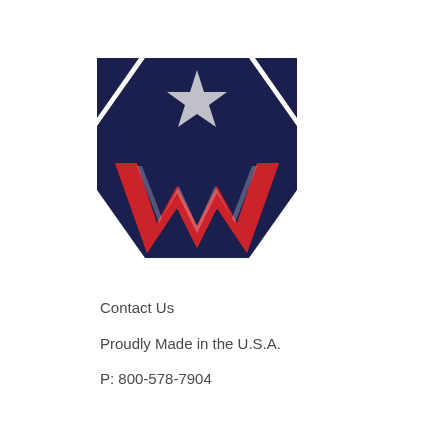[Figure (logo): American flag-inspired logo with dark navy blue square background, a silver/gray star in the upper center, and red W/V chevron shapes below forming an M or W pattern with white accent lines.]
Contact Us
Proudly Made in the U.S.A.
P: 800-578-7904
Links:
HOME
SHOP TRANSMISSIONS
PARTS & ACCESSORIES